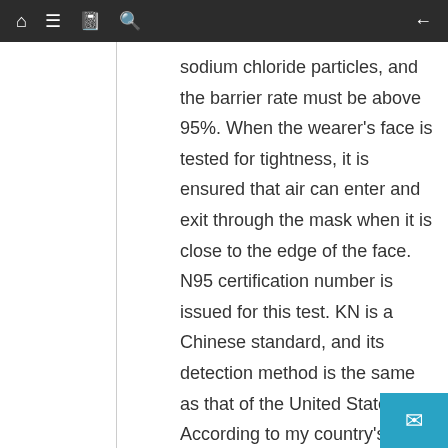Navigation bar with home, menu, book, search, and back icons
sodium chloride particles, and the barrier rate must be above 95%. When the wearer's face is tested for tightness, it is ensured that air can enter and exit through the mask when it is close to the edge of the face. N95 certification number is issued for this test. KN is a Chinese standard, and its detection method is the same as that of the United States. According to my country's GB2626-2006 standard, masks are divided into KN and KP categories. KN me masks are suitable for filtering